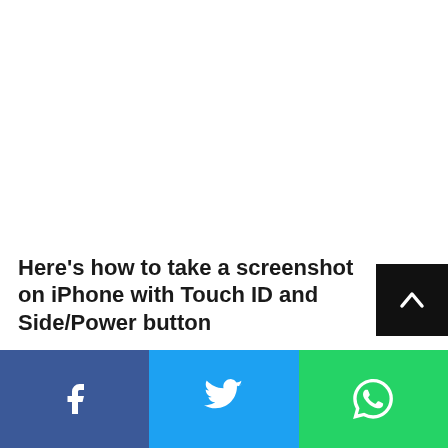Here's how to take a screenshot on iPhone with Touch ID and Side/Power button
[Figure (other): Social share bar with Facebook, Twitter, and WhatsApp buttons]